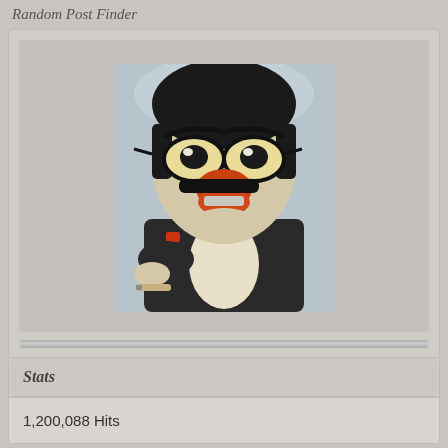Random Post Finder
[Figure (photo): A clay or ceramic figurine styled as a cartoon character in a tuxedo with large glasses, a prominent orange beak/lips, and a bow tie, holding what appears to be a cigar. The figure has exaggerated cartoonish facial features.]
Stats
1,200,088 Hits